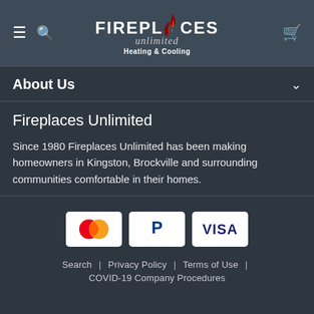[Figure (logo): Fireplaces Unlimited Heating & Cooling logo with flame graphic, hamburger menu, search icon, and cart icon in a dark header bar]
About Us
Fireplaces Unlimited
Since 1980 Fireplaces Unlimited has been making homeowners in Kingston, Brockville and surrounding communities comfortable in their homes.
[Figure (other): Payment method icons: Mastercard, PayPal, Visa]
Search | Privacy Policy | Terms of Use | COVID-19 Company Procedures